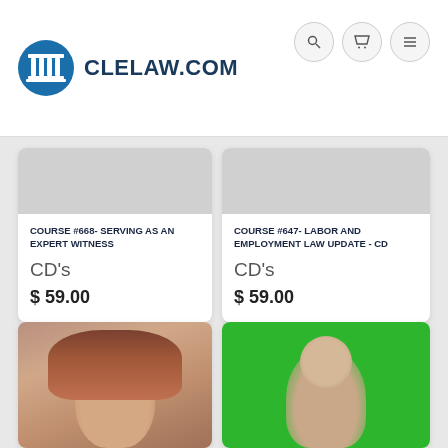CLELAW.COM
COURSE #668- SERVING AS AN EXPERT WITNESS
CD's
$ 59.00
COURSE #647- LABOR AND EMPLOYMENT LAW UPDATE - CD
CD's
$ 59.00
[Figure (photo): Woman with brown hair smiling]
[Figure (photo): Man in front of green background]